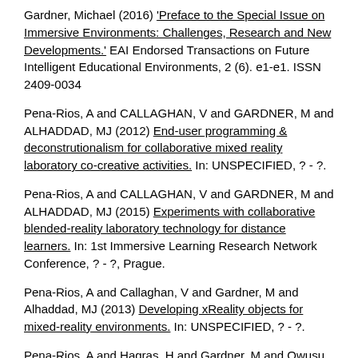Gardner, Michael (2016) 'Preface to the Special Issue on Immersive Environments: Challenges, Research and New Developments.' EAI Endorsed Transactions on Future Intelligent Educational Environments, 2 (6). e1-e1. ISSN 2409-0034
Pena-Rios, A and CALLAGHAN, V and GARDNER, M and ALHADDAD, MJ (2012) End-user programming & deconstrutionalism for collaborative mixed reality laboratory co-creative activities. In: UNSPECIFIED, ? - ?.
Pena-Rios, A and CALLAGHAN, V and GARDNER, M and ALHADDAD, MJ (2015) Experiments with collaborative blended-reality laboratory technology for distance learners. In: 1st Immersive Learning Research Network Conference, ? - ?, Prague.
Pena-Rios, A and Callaghan, V and Gardner, M and Alhaddad, MJ (2013) Developing xReality objects for mixed-reality environments. In: UNSPECIFIED, ? - ?.
Pena-Rios, A and Hagras, H and Gardner, M and Owusu, G (2016) A Fuzzy Logic based system for Mixed Reality assistance of remote workforce. In: 2016 IEEE International Conference on Fuzzy Systems (FUZZ-IEEE), 2017-07-24 - 2017-07-29, Vancouver, Canada.